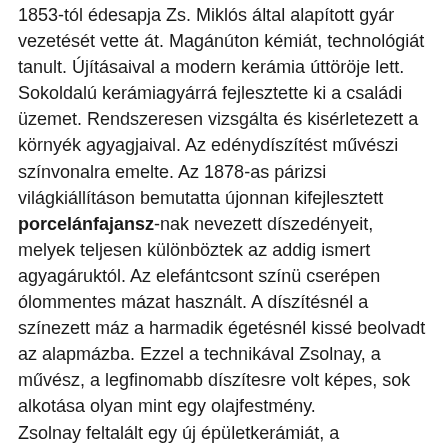1853-tól édesapja Zs. Miklós által alapított gyár vezetését vette át. Magánúton kémiát, technológiát tanult. Újításaival a modern kerámia úttöröje lett. Sokoldalú kerámiagyárrá fejlesztette ki a családi üzemet. Rendszeresen vizsgálta és kisérletezett a környék agyagjaival. Az edénydíszítést művészi színvonalra emelte. Az 1878-as párizsi világkiállításon bemutatta újonnan kifejlesztett porcelánfajansz-nak nevezett díszedényeit, melyek teljesen különböztek az addig ismert agyagáruktól. Az elefántcsont színü cserépen ólommentes mázat használt. A díszítésnél a színezett máz a harmadik égetésnél kissé beolvadt az alapmázba. Ezzel a technikával Zsolnay, a művész, a legfinomabb díszítesre volt képes, sok alkotása olyan mint egy olajfestmény. Zsolnay feltalált egy új épületkerámiát, a faragható, fagyálló pirogránit-ot, mely Magyarország számos híres épületét díszíti (Mátyás templom, kassai dóm, vajdahunyadi